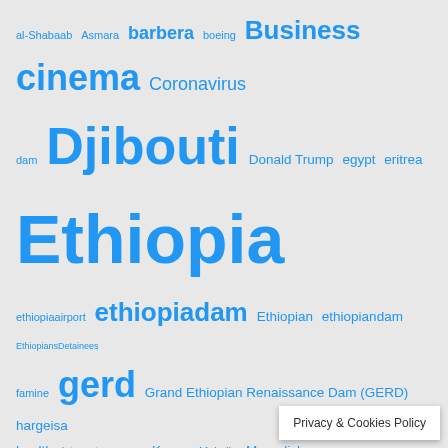[Figure (other): Tag cloud with blue hyperlinks of varying sizes representing topics related to East Africa news: al-Shabaab, Asmara, barbera, boeing, Business, cinema, Coronavirus, dam, Djibouti, Donald Trump, egypt, eritrea, Ethiopia, ethiopiaairport, ethiopiadam, Ethiopian, ethiopiandam, EthiopiansDetainees, famine, gerd, Grand Ethiopian Renaissance Dam (GERD), hargeisa, health, interneteconomy, Kenya, Mekelle, Mogadishu, Puntland, somalia, somalia coronavirus, somalia elections, somaliaelections, somaliand, somaliland, sport, sudan, Taiwan, taiwan ties, tigray, Tigrayelections, tigraywar, TPLF, travel, trump, world]
Categories
Djibouti
East Africa Economy
East Africa Health
East Africa News
East Africa Sports
East Africa Tech